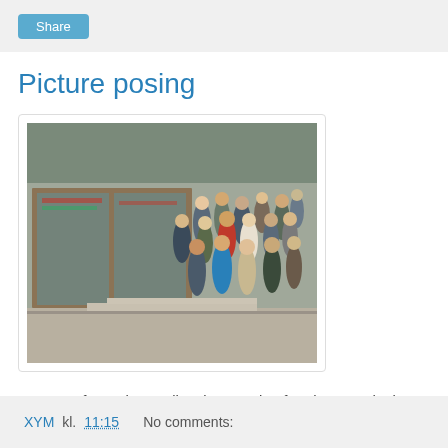Share
Picture posing
[Figure (photo): A group of people standing on steps in front of a building with large glass windows. Several Scandinavian-looking individuals posing for a group photograph outside Sverre Fehn's Nordic pavilion. A banner or decoration is visible through the glass in the background.]
A group of proud Scandinavians posing for photographs in front of Sverre Fehn's Nordic pavilion. At Work With visible in background.
XYM kl. 11:15   No comments: